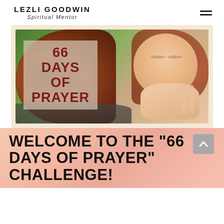LEZLI GOODWIN Spiritual Mentor
[Figure (photo): Woman with red curly hair, eyes closed, hands clasped in prayer position, with an overlay text box reading '66 DAYS OF PRAYER' in dark red bold text on a semi-transparent beige background.]
WELCOME TO THE "66 DAYS OF PRAYER" CHALLENGE!